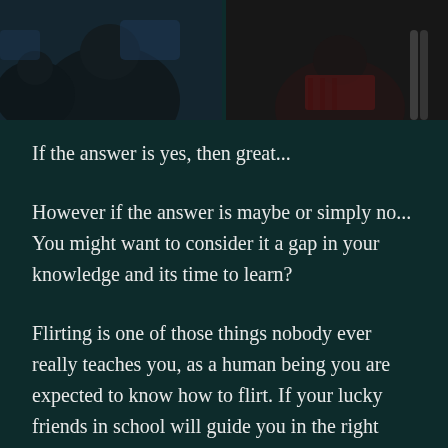[Figure (photo): Photo strip at top showing two side-by-side photos of people seated, viewed from behind, against a dark background]
If the answer is yes, then great...
However if the answer is maybe or simply no... You might want to consider it a gap in your knowledge and its time to learn?
Flirting is one of those things nobody ever really teaches you, as a human being you are expected to know how to flirt. If your lucky friends in school will guide you in the right direction but if your not, you are wondering how it all works...